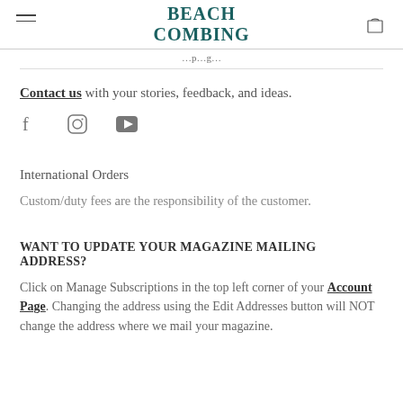BEACH COMBING
Contact us with your stories, feedback, and ideas.
[Figure (other): Social media icons: Facebook, Instagram, YouTube]
International Orders
Custom/duty fees are the responsibility of the customer.
WANT TO UPDATE YOUR MAGAZINE MAILING ADDRESS?
Click on Manage Subscriptions in the top left corner of your Account Page. Changing the address using the Edit Addresses button will NOT change the address where we mail your magazine.